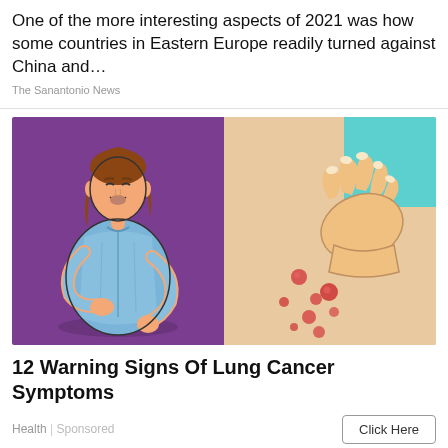One of the more interesting aspects of 2021 was how some countries in Eastern Europe readily turned against China and...
The Sanantonio News
[Figure (illustration): Split illustration: left panel shows a woman in blue shirt grimacing and holding her stomach in pain against a purple background; right panel shows a close-up of a hand scratching skin with red spots/rash on a light background.]
12 Warning Signs Of Lung Cancer Symptoms
Health | Sponsored
Click Here